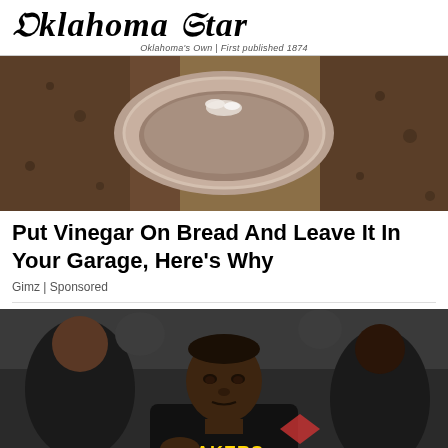Oklahoma Star
Oklahoma's Own | First published 1874
[Figure (photo): Close-up photo of a bowl with liquid and bread on a granite countertop]
Put Vinegar On Bread And Leave It In Your Garage, Here's Why
Gimz | Sponsored
[Figure (photo): NBA player wearing a black Lakers hoodie sitting on the bench, with other people in the background]